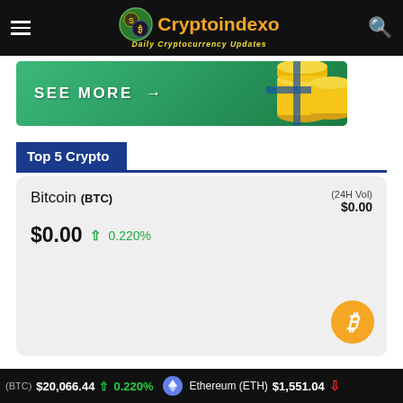Cryptoindexo — Daily Cryptocurrency Updates
[Figure (screenshot): Green promotional banner with 'SEE MORE →' text and stacked gold coins graphic]
Top 5 Crypto
Bitcoin (BTC) (24H Vol) $0.00   $0.00  ↑ 0.220%
(BTC) $20,066.44 ↑ 0.220%   Ethereum (ETH) $1,551.04 ↓